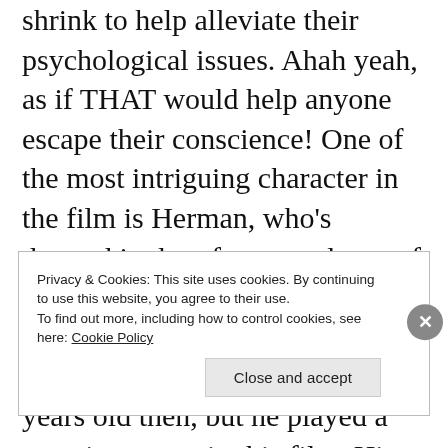shrink to help alleviate their psychological issues. Ahah yeah, as if THAT would help anyone escape their conscience! One of the most intriguing character in the film is Herman, who's dressed in drag for a good part of the film. He wasn't actually involved in the massacre at the time as he was only about 10 years old then, but he played a prominent part in this film. His evolution throughout the film is striking as he starts out as someone
Privacy & Cookies: This site uses cookies. By continuing to use this website, you agree to their use.
To find out more, including how to control cookies, see here: Cookie Policy
Close and accept